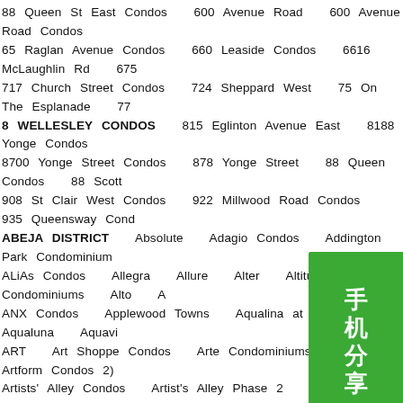88 Queen St East Condos   600 Avenue Road   600 Avenue Road Condos   65 Raglan Avenue Condos   660 Leaside Condos   6616 McLaughlin Rd   675   717 Church Street Condos   724 Sheppard West   75 On The Esplanade   77   8 WELLESLEY CONDOS   815 Eglinton Avenue East   8188 Yonge Condos   8700 Yonge Street Condos   878 Yonge Street   88 Queen Condos   88 Scott   908 St Clair West Condos   922 Millwood Road Condos   935 Queensway Condo   ABEJA DISTRICT   Absolute   Adagio Condos   Addington Park Condominium   ALiAs Condos   Allegra   Allure   Alter   Altitude Condominiums   Alto   A   ANX Condos   Applewood Towns   Aqualina at Bayside   Aqualuna   Aquavi   ART   Art Shoppe Condos   Arte Condominiums (formerly Artform Condos 2)   Artists' Alley Condos   Artist's Alley Phase 2   Artlife on O'Connor Condos   Ar   Atmosphere Penthouse Collection at SXSW   AtWater Condominiums   Auberg   Avani at Metrogate   Avenue & Lawrence condos   Avia   Avia 2 C   Azul Condo Towns and Lofts   Azura Condos   B.Streets   Backsta   Bayview & Finch Condos   Bayview at The Village   Bayview at The   BeauSoleil Condos   Bellaria Residences Tower 4   Berkeley House   BIRCHLEY PARK CONDOS   Bisha   Biyu Condos   Blackstone C   Bloor Dufferin Condos In Toronto West   Bloor Promenade   Blue Sk   Boutik Condos   Bower Condos on The Preserve   Braeburn Lane   Branch C   Brimley & Progress Towers   Bristol Condos   Bristol Place Condos   Bronte L   Burano   Burke Condos   Cabin Toronto   Caledonia Towns on the Park   Ca   Canary House Condos   Canary Park Condos   Canopy Towers condos   Caro   Carriage Ridge at Carriage Country Club   Casa II   Casa III   Ca   Central District Towns   Central park condos   Centre Park   Cen   Charlie   Chateau Auberge On The Park Phase3   Chaz   Chedd   Churchill Collection in Forest Hill   Churchill Park Condominiums   Cielo Condo
[Figure (other): Green overlay button with Chinese characters reading 手机分享 (mobile share)]